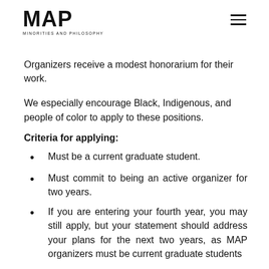MAP — Minorities and Philosophy
Organizers receive a modest honorarium for their work.
We especially encourage Black, Indigenous, and people of color to apply to these positions.
Criteria for applying:
Must be a current graduate student.
Must commit to being an active organizer for two years.
If you are entering your fourth year, you may still apply, but your statement should address your plans for the next two years, as MAP organizers must be current graduate students
Though the default term is a two-year term,